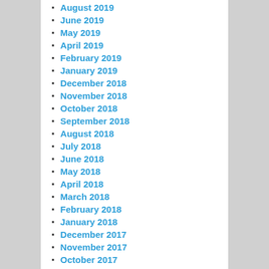August 2019
June 2019
May 2019
April 2019
February 2019
January 2019
December 2018
November 2018
October 2018
September 2018
August 2018
July 2018
June 2018
May 2018
April 2018
March 2018
February 2018
January 2018
December 2017
November 2017
October 2017
September 2017